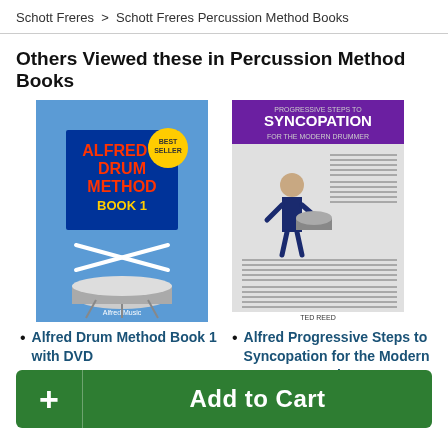Schott Freres > Schott Freres Percussion Method Books
Others Viewed these in Percussion Method Books
[Figure (photo): Alfred's Drum Method Book 1 cover - blue background with drumsticks and snare drum]
[Figure (photo): Alfred Progressive Steps to Syncopation for the Modern Drummer Book cover - purple header with musician playing drum]
Alfred Drum Method Book 1 with DVD
Alfred Progressive Steps to Syncopation for the Modern Drummer Book
Add to Cart